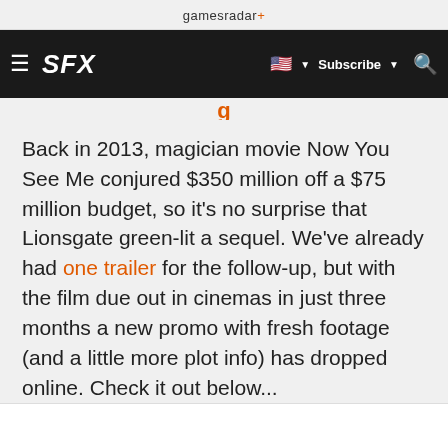gamesradar+
☰ SFX 🇺🇸 ▾ Subscribe ▾ 🔍
Back in 2013, magician movie Now You See Me conjured $350 million off a $75 million budget, so it's no surprise that Lionsgate green-lit a sequel. We've already had one trailer for the follow-up, but with the film due out in cinemas in just three months a new promo with fresh footage (and a little more plot info) has dropped online. Check it out below...
Advertisement